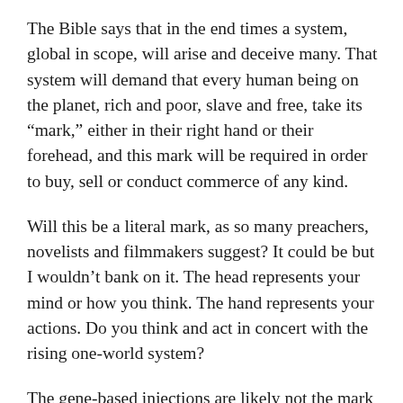The Bible says that in the end times a system, global in scope, will arise and deceive many. That system will demand that every human being on the planet, rich and poor, slave and free, take its “mark,” either in their right hand or their forehead, and this mark will be required in order to buy, sell or conduct commerce of any kind.
Will this be a literal mark, as so many preachers, novelists and filmmakers suggest? It could be but I wouldn’t bank on it. The head represents your mind or how you think. The hand represents your actions. Do you think and act in concert with the rising one-world system?
The gene-based injections are likely not the mark but they appear to be an important precursor. The digital vaccine passports being rolled out worldwide